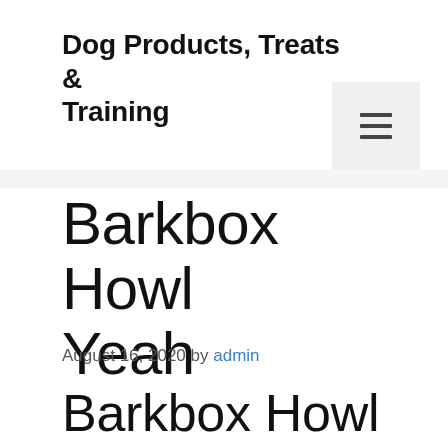Dog Products, Treats & Training
Barkbox Howl Yeah
August 16, 2020 by admin
Barkbox Howl Yeah